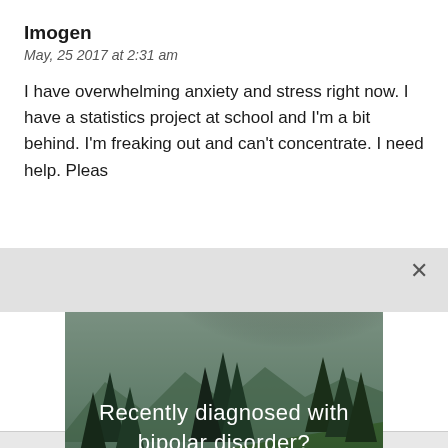Imogen
May, 25 2017 at 2:31 am
I have overwhelming anxiety and stress right now. I have a statistics project at school and I'm a bit behind. I'm freaking out and can't concentrate. I need help. Please
[Figure (photo): Forest/nature scene advertisement image with trees, river, and mountains in background. Text overlay reads 'Recently diagnosed with bipolar disorder? DOWNLOAD OUR FREE EBOOK NOW.' with a white underline beneath the call to action.]
advertisement